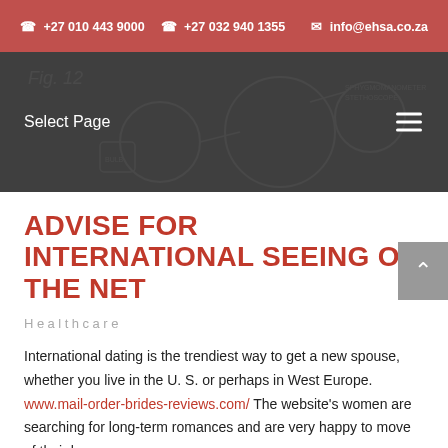☎ +27 010 443 9000  ☎ +27 032 940 1355  ✉ info@ehsa.co.za
[Figure (screenshot): Navigation bar with 'Select Page' text on a dark background with a faint medical diagram/stethoscope illustration and a hamburger menu icon on the right.]
ADVISE FOR INTERNATIONAL SEEING ON THE NET
Healthcare
International dating is the trendiest way to get a new spouse, whether you live in the U. S. or perhaps in West Europe. www.mail-order-brides-reviews.com/ The website's women are searching for long-term romances and are very happy to move of their home